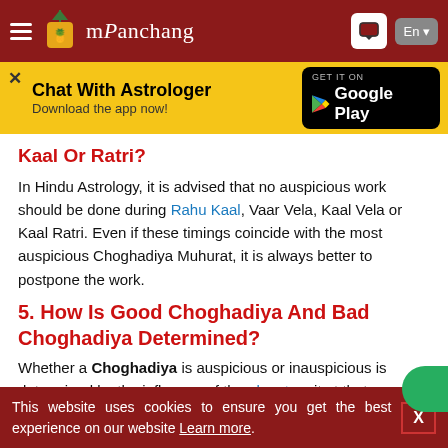mPanchang
[Figure (screenshot): Yellow banner: Chat With Astrologer - Download the app now! with Google Play button]
Kaal Or Ratri?
In Hindu Astrology, it is advised that no auspicious work should be done during Rahu Kaal, Vaar Vela, Kaal Vela or Kaal Ratri. Even if these timings coincide with the most auspicious Choghadiya Muhurat, it is always better to postpone the work.
5. How Is Good Choghadiya And Bad Choghadiya Determined?
Whether a Choghadiya is auspicious or inauspicious is determined by the influence of the planet on it at that
This website uses cookies to ensure you get the best experience on our website Learn more.